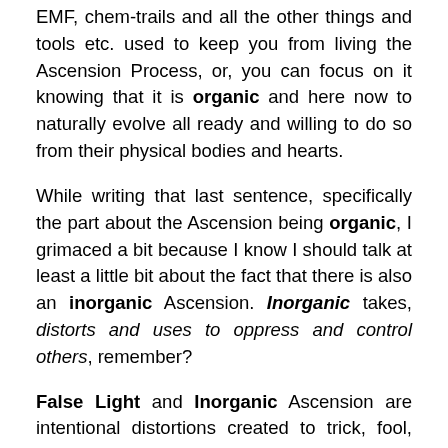EMF, chem-trails and all the other things and tools etc. used to keep you from living the Ascension Process, or, you can focus on it knowing that it is organic and here now to naturally evolve all ready and willing to do so from their physical bodies and hearts.
While writing that last sentence, specifically the part about the Ascension being organic, I grimaced a bit because I know I should talk at least a little bit about the fact that there is also an inorganic Ascension. Inorganic takes, distorts and uses to oppress and control others, remember?
False Light and Inorganic Ascension are intentional distortions created to trick, fool, grab, sidetrack, derail and pull down as many humans as the old lower negative beings and negative humans can. They've dressed it up to